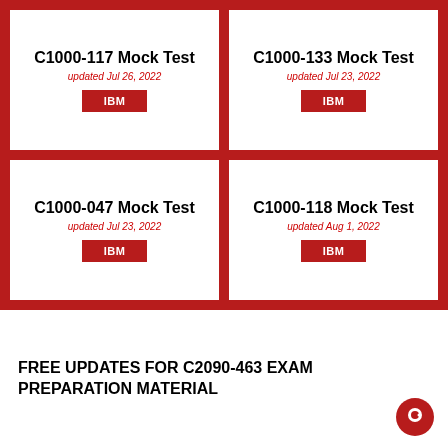[Figure (other): Grid of 4 mock test cards on red background: C1000-117, C1000-133, C1000-047, C1000-118]
FREE UPDATES FOR C2090-463 EXAM PREPARATION MATERIAL